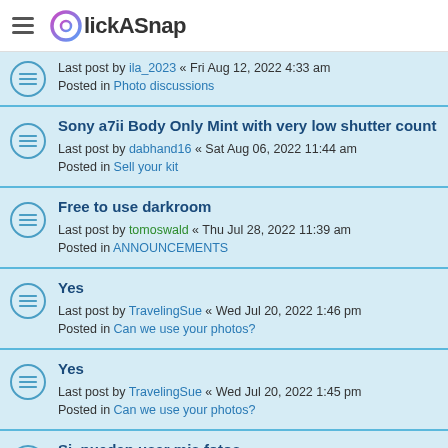ClickASnap
Last post by ila_2023 « Fri Aug 12, 2022 4:33 am
Posted in Photo discussions
Sony a7ii Body Only Mint with very low shutter count
Last post by dabhand16 « Sat Aug 06, 2022 11:44 am
Posted in Sell your kit
Free to use darkroom
Last post by tomoswald « Thu Jul 28, 2022 11:39 am
Posted in ANNOUNCEMENTS
Yes
Last post by TravelingSue « Wed Jul 20, 2022 1:46 pm
Posted in Can we use your photos?
Yes
Last post by TravelingSue « Wed Jul 20, 2022 1:45 pm
Posted in Can we use your photos?
Si, pueden usar mis fotos
Last post by mauricioabdeel « Tue Jul 19, 2022 3:36 pm
Posted in Can we use your photos?